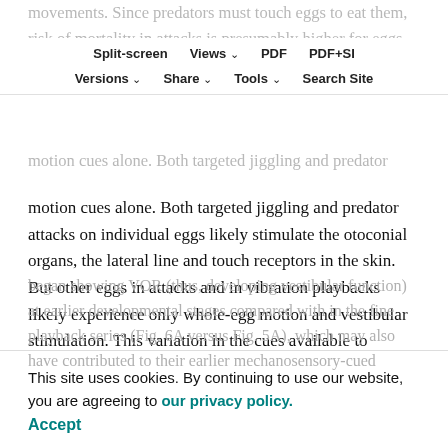movements. Since predators must touch eggs to eat them, risk of mortality in attacks is presumably higher for eggs receiving vibration and contact cues for the moving motion cues alone.
Split-screen | Views | PDF | PDF+SI | Versions | Share | Tools | Search Site
motion cues alone. Both targeted jiggling and predator attacks on individual eggs likely stimulate the otoconial organs, the lateral line and touch receptors in the skin. But other eggs in attacks and in vibration playbacks likely experience only whole-egg motion and vestibular stimulation. This variation in the cues available to embryos may contribute to the variation in individual responses and the different responses to vibration-playback and egg-jiggling stimuli. Moreover, in the jiggling series, embryos
began showing VOR (thus, developing vestibular function) at earlier developmental stages compared with in the fine playback series (Fig. 6A versus Fig. 5A), which may also have contributed to their earlier mechanosensory-cued
This site uses cookies. By continuing to use our website, you are agreeing to our privacy policy. Accept